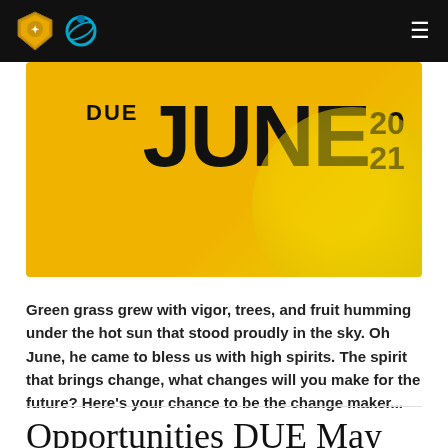[Figure (illustration): Yellow banner with large bold text reading 'DUE JUNE 20 21' on a golden yellow background with a circular gradient accent]
Green grass grew with vigor, trees, and fruit humming under the hot sun that stood proudly in the sky. Oh June, he came to bless us with high spirits. The spirit that brings change, what changes will you make for the future? Here's your chance to be the change maker...
Opportunities DUE May